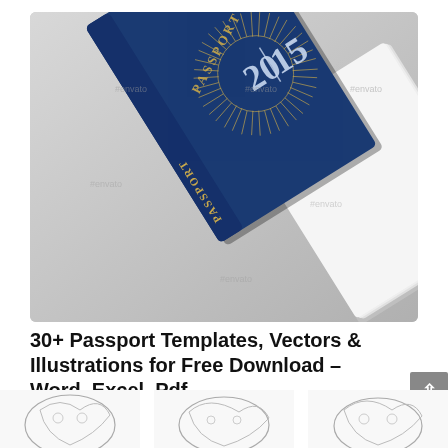[Figure (photo): Photo of a navy blue passport booklet with gold 'PASSPORT' text on the spine, a gold decorative sunburst design and '2015' on the cover, placed on a gray surface. Multiple Envato watermarks visible.]
30+ Passport Templates, Vectors & Illustrations for Free Download – Word, Excel, Pdf
[Figure (illustration): Row of small outline illustrations of passport-related imagery at the bottom of the page, partially visible.]